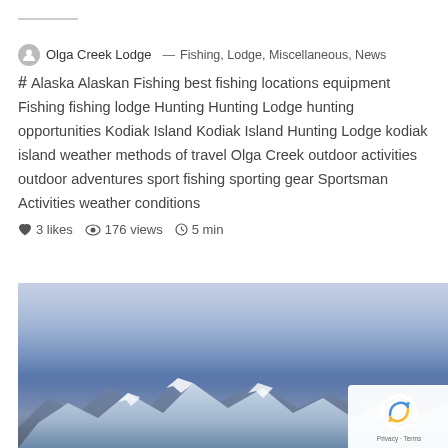Olga Creek Lodge — Fishing, Lodge, Miscellaneous, News # Alaska Alaskan Fishing best fishing locations equipment Fishing fishing lodge Hunting Hunting Lodge hunting opportunities Kodiak Island Kodiak Island Hunting Lodge kodiak island weather methods of travel Olga Creek outdoor activities outdoor adventures sport fishing sporting gear Sportsman Activities weather conditions
3 likes  176 views  5 min
[Figure (photo): Aerial or wide-angle photo of snow-capped mountains under a blue sky with clouds, blue-tinted landscape typical of Alaskan wilderness.]